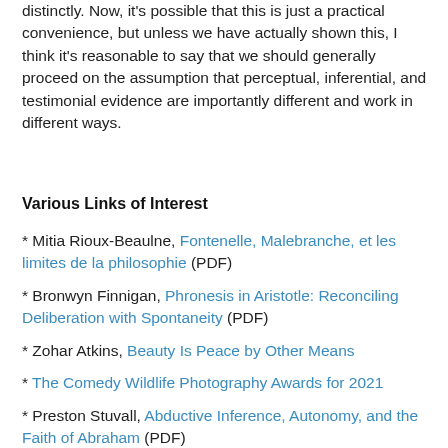distinctly. Now, it's possible that this is just a practical convenience, but unless we have actually shown this, I think it's reasonable to say that we should generally proceed on the assumption that perceptual, inferential, and testimonial evidence are importantly different and work in different ways.
Various Links of Interest
* Mitia Rioux-Beaulne, Fontenelle, Malebranche, et les limites de la philosophie (PDF)
* Bronwyn Finnigan, Phronesis in Aristotle: Reconciling Deliberation with Spontaneity (PDF)
* Zohar Atkins, Beauty Is Peace by Other Means
* The Comedy Wildlife Photography Awards for 2021
* Preston Stuvall, Abductive Inference, Autonomy, and the Faith of Abraham (PDF)
* Joshua Cockayne, We Believe: Group Belief and the...